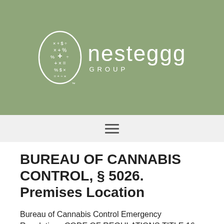[Figure (logo): Nesteggg Group logo: white oval badge with mathematical symbols and a cross, beside the text 'nesteggg GROUP' in white on olive/sage green background]
BUREAU OF CANNABIS CONTROL, § 5026. Premises Location
Bureau of Cannabis Control Emergency Regulations CODE OF REGULATIONS TITLE 16 DIVISION
§ 5026. Premises Location
(a) A premises licensed under this division shall not be located within a 600-foot radius of a